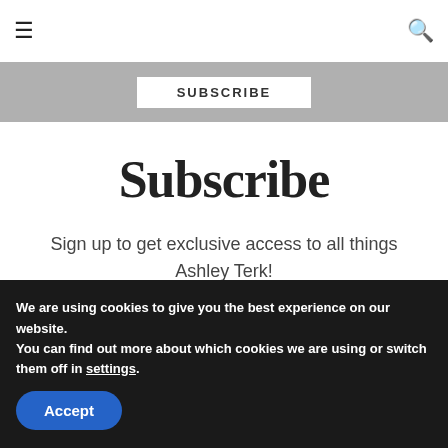≡  [hamburger menu]  [search icon]
SUBSCRIBE
Subscribe
Sign up to get exclusive access to all things Ashley Terk!
First name
We are using cookies to give you the best experience on our website.
You can find out more about which cookies we are using or switch them off in settings.
Accept